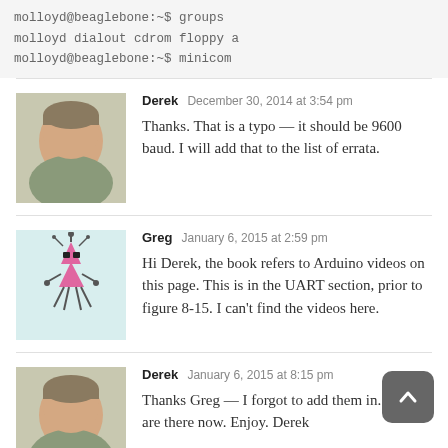molloyd@beaglebone:~$ groups
molloyd dialout cdrom floppy a
molloyd@beaglebone:~$ minicom
Derek  December 30, 2014 at 3:54 pm
Thanks. That is a typo — it should be 9600 baud. I will add that to the list of errata.
Greg  January 6, 2015 at 2:59 pm
Hi Derek, the book refers to Arduino videos on this page. This is in the UART section, prior to figure 8-15. I can't find the videos here.
Derek  January 6, 2015 at 8:15 pm
Thanks Greg — I forgot to add them in. They are there now. Enjoy. Derek